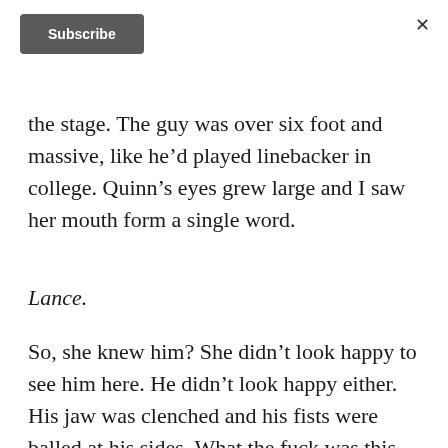Subscribe
the stage. The guy was over six foot and massive, like he’d played linebacker in college. Quinn’s eyes grew large and I saw her mouth form a single word.
Lance.
So, she knew him? She didn’t look happy to see him here. He didn’t look happy either. His jaw was clenched and his fists were balled at his sides. What the fuck was this guy’s deal? I glanced at Lance’s mouth,